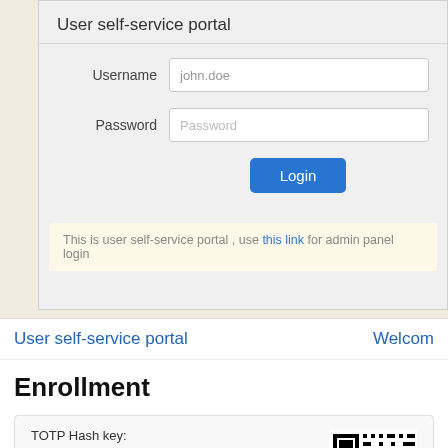User self-service portal
Username   john.doe
Password   Password
Login
This is user self-service portal , use this link for admin panel login
User self-service portal   Welcom
Enrollment
TOTP Hash key:
OS5VGECCRRFPOZT3